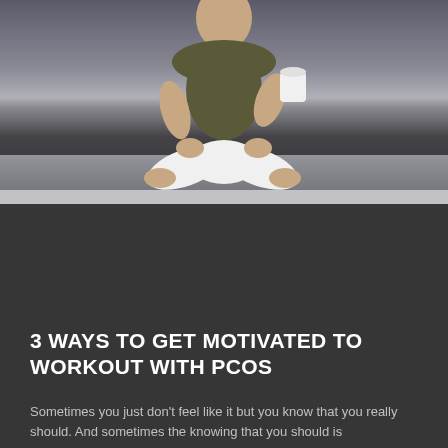[Figure (photo): A woman sitting cross-legged on a surface against a dark background, wearing white pants and an olive/dark green top, holding a white mug. The photo is partially visible at the top of the page.]
3 WAYS TO GET MOTIVATED TO WORKOUT WITH PCOS
Sometimes you just don't feel like it but you know that you really should. And sometimes the knowing that you should is